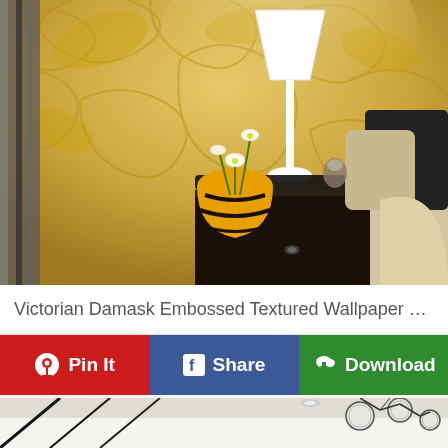[Figure (photo): Bedroom interior with golden-beige damask embossed wallpaper, white table lamp, ornate black nightstand with striped yellow vase, white orchid flowers, and beige bedding with dark throw pillows]
Victorian Damask Embossed Textured Wallpaper Non ...
[Figure (infographic): Action bar with three buttons: Pin It (red, Pinterest icon), Share (blue, Facebook icon), Download (green, cloud download icon)]
[Figure (photo): Partial view of a modern interior room with white furniture and industrial-style globe pendant lights with black metal frame]